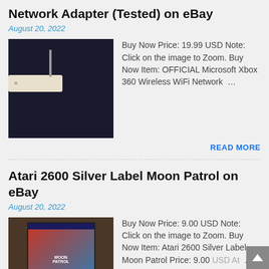Network Adapter (Tested) on eBay
August 20, 2022
[Figure (photo): Photo of a Microsoft Xbox 360 Wireless WiFi Network Adapter on dark fabric background]
Buy Now Price: 19.99 USD Note: Click on the image to Zoom. Buy Now Item: OFFICIAL Microsoft Xbox 360 Wireless WiFi Network …
READ MORE
Atari 2600 Silver Label Moon Patrol on eBay
August 20, 2022
[Figure (photo): Photo of an Atari 2600 Silver Label Moon Patrol game cartridge in box]
Buy Now Price: 9.00 USD Note: Click on the image to Zoom. Buy Now Item: Atari 2600 Silver Label Moon Patrol Price: 9.00 USD At …
READ MORE